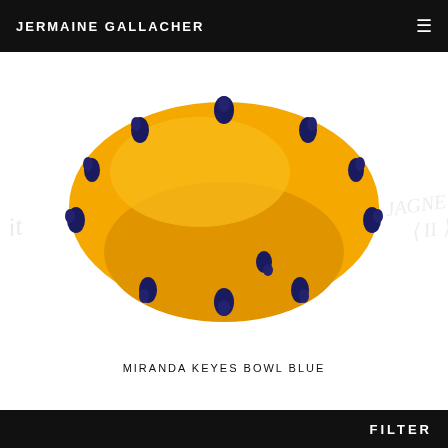JERMAINE GALLACHER
[Figure (photo): Yellow ceramic bowl with dark navy blue teardrop-shaped protrusions/feet along its rim and base, photographed from above on a white background. Decorative glass art piece.]
MIRANDA KEYES BOWL BLUE
[Figure (photo): Dark black curved object, partially visible at bottom of frame, appears to be a handle or rounded dark ceramic/glass piece.]
FILTER